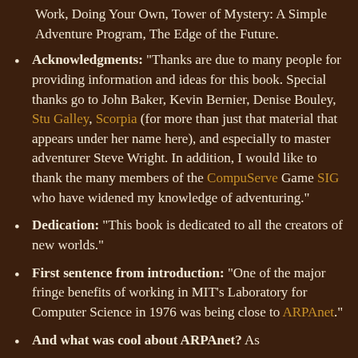Work, Doing Your Own, Tower of Mystery: A Simple Adventure Program, The Edge of the Future.
Acknowledgments: "Thanks are due to many people for providing information and ideas for this book. Special thanks go to John Baker, Kevin Bernier, Denise Bouley, Stu Galley, Scorpia (for more than just that material that appears under her name here), and especially to master adventurer Steve Wright. In addition, I would like to thank the many members of the CompuServe Game SIG who have widened my knowledge of adventuring."
Dedication: "This book is dedicated to all the creators of new worlds."
First sentence from introduction: "One of the major fringe benefits of working in MIT's Laboratory for Computer Science in 1976 was being close to ARPAnet."
And what was cool about ARPAnet? As